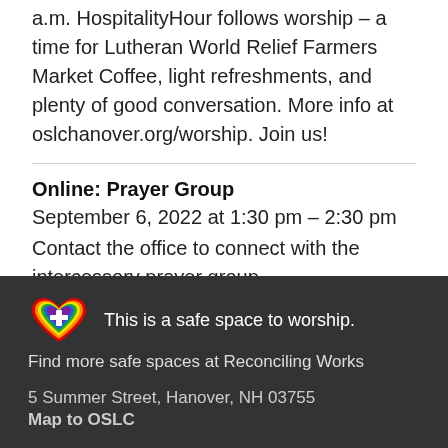a.m.  HospitalityHour follows worship – a time for Lutheran World Relief Farmers Market Coffee, light refreshments, and plenty of good conversation.  More info at oslchanover.org/worship.  Join us!
Online: Prayer Group
September 6, 2022 at 1:30 pm – 2:30 pm
Contact the office to connect with the intercessory prayer group.
[Figure (logo): Rainbow and purple heart with white cross logo]
This is a safe space to worship. Find more safe spaces at Reconciling Works
5 Summer Street, Hanover, NH 03755
Map to OSLC